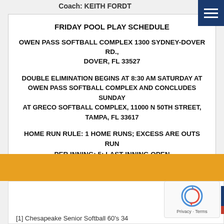Coach: KEITH FORDT
FRIDAY POOL PLAY SCHEDULE
OWEN PASS SOFTBALL COMPLEX 1300 SYDNEY-DOVER RD., DOVER, FL 33527
DOUBLE ELIMINATION BEGINS AT 8:30 AM SATURDAY AT OWEN PASS SOFTBALL COMPLEX AND CONCLUDES SUNDAY AT GRECO SOFTBALL COMPLEX,  11000 N 50TH STREET, TAMPA, FL 33617
HOME RUN RULE:  1 HOME RUNS; EXCESS ARE OUTS RUN PER INNING: 5; LAST INNING OPEN
[1] Chesapeake Senior Softball 60's  34